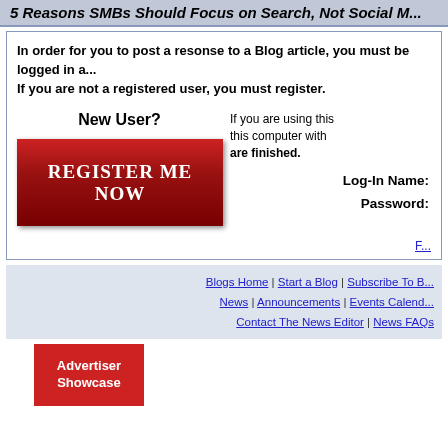5 Reasons SMBs Should Focus on Search, Not Social M...
In order for you to post a resonse to a Blog article, you must be logged in a... If you are not a registered user, you must register.
New User?
[Figure (other): Red Register Me Now button]
If you are using this computer with this computer with are finished.
Log-In Name:
Password:
F...
Blogs Home | Start a Blog | Subscribe To B... | News | Announcements | Events Calend... | Contact The News Editor | News FAQs